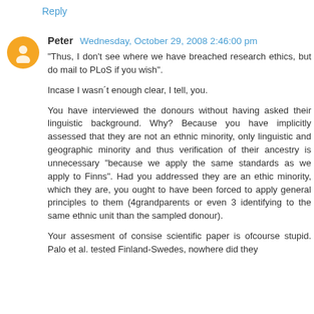Reply
Peter  Wednesday, October 29, 2008 2:46:00 pm
"Thus, I don't see where we have breached research ethics, but do mail to PLoS if you wish".

Incase I wasn´t enough clear, I tell, you.

You have interviewed the donours without having asked their linguistic background. Why? Because you have implicitly assessed that they are not an ethnic minority, only linguistic and geographic minority and thus verification of their ancestry is unnecessary "because we apply the same standards as we apply to Finns". Had you addressed they are an ethic minority, which they are, you ought to have been forced to apply general principles to them (4grandparents or even 3 identifying to the same ethnic unit than the sampled donour).

Your assesment of consise scientific paper is ofcourse stupid. Palo et al. tested Finland-Swedes, nowhere did they